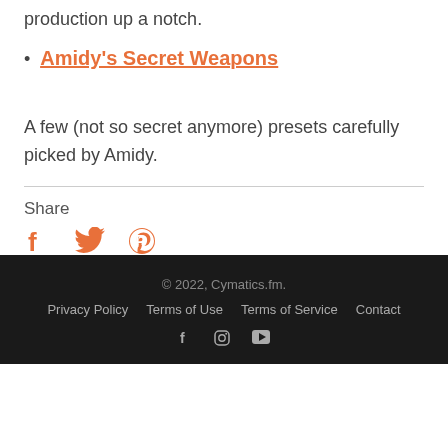production up a notch.
Amidy's Secret Weapons
A few (not so secret anymore) presets carefully picked by Amidy.
Share
[Figure (other): Social share icons: Facebook, Twitter, Pinterest in orange]
© 2022, Cymatics.fm. | Privacy Policy | Terms of Use | Terms of Service | Contact | Facebook | Instagram | YouTube